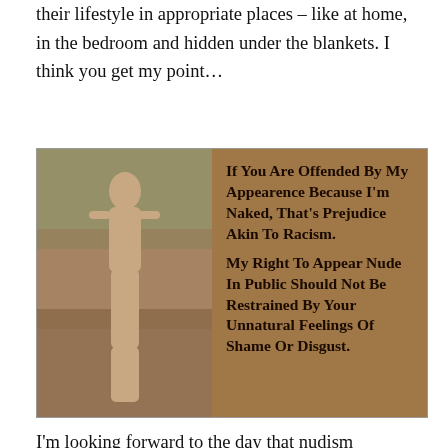their lifestyle in appropriate places – like at home, in the bedroom and hidden under the blankets. I think you get my point…
[Figure (photo): A composite image: left half shows a photo of a nude woman standing on a road outdoors; right half is a brown/tan background with bold black text reading: 'If You Are Offended By My Appearence Because I'm Naked, That's Prejudice Akin To Racism. My Right To Appear Nude In Public Should Not Be Restrained By Your Unnatural Feelings Of Shame Or Disgust.']
I'm looking forward to the day that nudism becomes a religion, if it indeed ever does. And if it does, that will be the day where I,